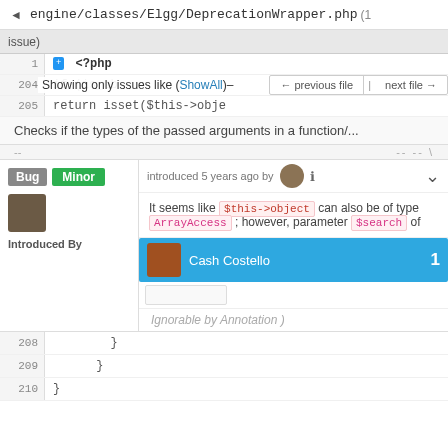engine/classes/Elgg/DeprecationWrapper.php (1
issue)
1  <?php
204  if (is_ob   ← previous file  |  next file →
Showing only issues like (ShowAll)–
205        return isset($this->obje
Checks if the types of the passed arguments in a function/...
Bug  Minor  introduced 5 years ago by
It seems like $this->object can also be of type ArrayAccess ; however, parameter $search of
Introduced By
Cash Costello  1
Ignorable by Annotation )
208        }
209      }
210  }